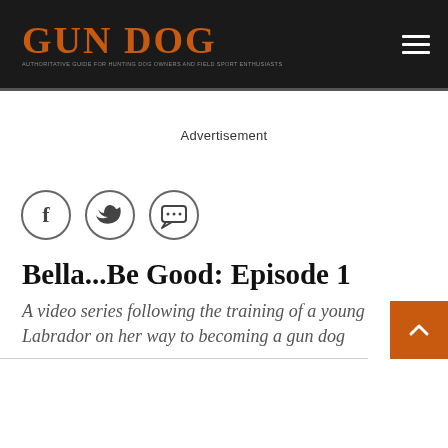GUN DOG
Advertisement
[Figure (other): Social sharing icons: Facebook (f), Twitter (bird), and Comments (speech bubble with dots) in circular outlines]
Bella...Be Good: Episode 1
A video series following the training of a young Labrador on her way to becoming a gun dog